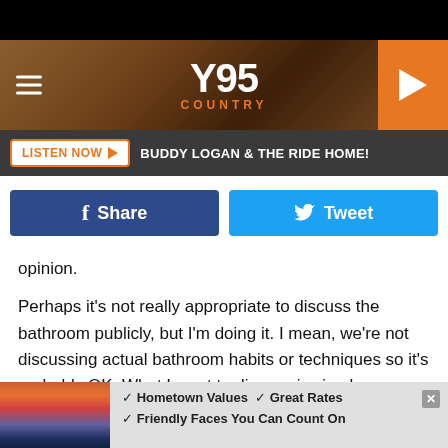[Figure (screenshot): Y95 Country radio station website header with logo, hamburger menu, orange play button]
[Figure (screenshot): Listen Now button bar with text BUDDY LOGAN & THE RIDE HOME!]
[Figure (screenshot): Facebook Share and Twitter Tweet buttons]
opinion.
Perhaps it's not really appropriate to discuss the bathroom publicly, but I'm doing it. I mean, we're not discussing actual bathroom habits or techniques so it's probably OK. What I want to discuss is simply an accessory in your bathroom.
[Figure (screenshot): Advertisement: Hometown Values, Great Rates, Friendly Faces You Can Count On]